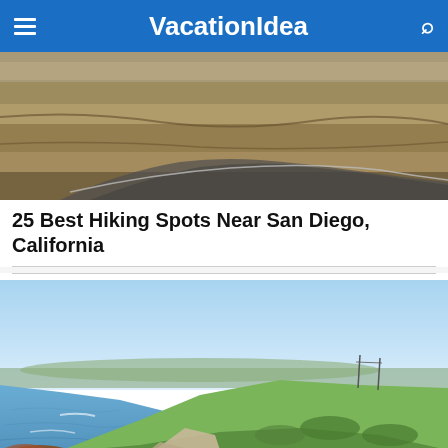VacationIdea
[Figure (photo): Rocky cliff landscape near San Diego, California with layered sandstone rock formations and a road visible below]
25 Best Hiking Spots Near San Diego, California
[Figure (photo): Northern California coastline with blue sky, green coastal bluffs, ocean water, and rocky shoreline]
25 Best Things to Do in Northern